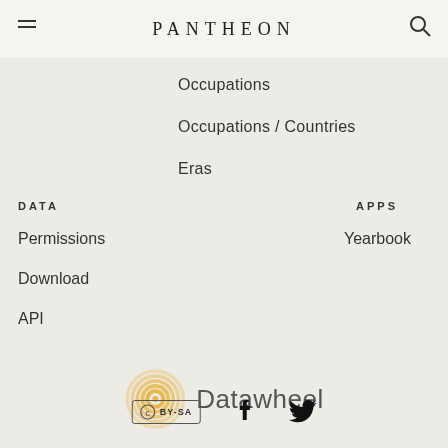PANTHEON
Occupations
Occupations / Countries
Eras
DATA
APPS
Permissions
Yearbook
Download
API
[Figure (logo): Datawheel logo with circular yellow concentric rings icon and gray Datawheel text]
[Figure (logo): CC BY-SA Creative Commons license badge, Facebook icon, Twitter bird icon]